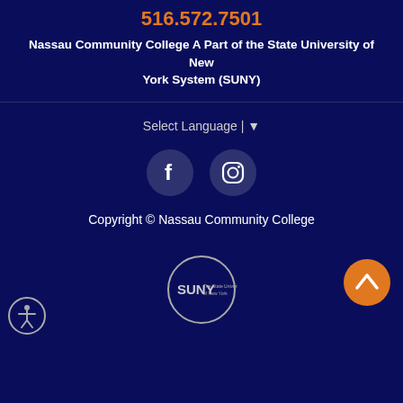516.572.7501
Nassau Community College A Part of the State University of New York System (SUNY)
Select Language | ▼
[Figure (logo): Facebook icon in a dark circle]
[Figure (logo): Instagram icon in a dark circle]
Copyright © Nassau Community College
[Figure (logo): SUNY – The State University of New York circular logo]
[Figure (illustration): Orange circular back-to-top button with upward chevron arrow]
[Figure (illustration): Accessibility icon – white circle outline with person figure]